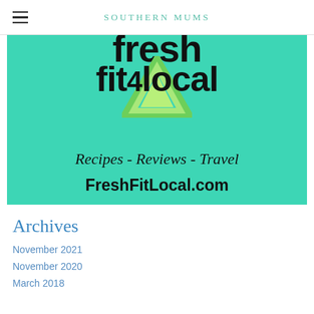SOUTHERN MUMS
[Figure (illustration): FreshFitLocal logo on teal/mint background showing 'fresh fit4local' text in large black bold font with green triangle logo, tagline 'Recipes - Reviews - Travel' in script font, and 'FreshFitLocal.com' in bold sans-serif]
Archives
November 2021
November 2020
March 2018